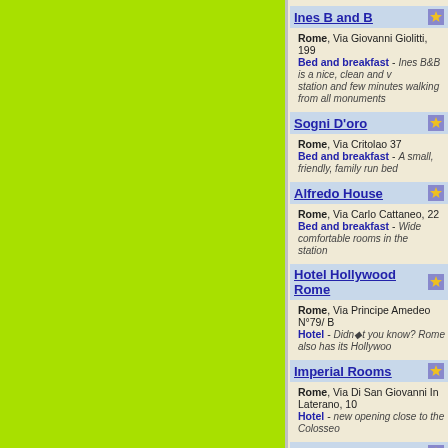Ines B and B - Rome, Via Giovanni Giolitti, 199 - Bed and breakfast - Ines B&B is a nice, clean and well located, near the main station and few minutes walking from all monuments
Sogni D'oro - Rome, Via Critolao 37 - Bed and breakfast - A small, friendly, family run bed
Alfredo House - Rome, Via Carlo Cattaneo, 22 - Bed and breakfast - Wide comfortable rooms in the station
Hotel Hollywood Rome - Rome, Via Principe Amedeo N°79/ B - Hotel - Didn't you know? Rome also has its Hollywoo
Imperial Rooms - Rome, Via Di San Giovanni In Laterano, 10 - Hotel - new opening close to the Colosseo
Prince Inn - Rome, Via Principe Eugeniio 15 - Bed and breakfast